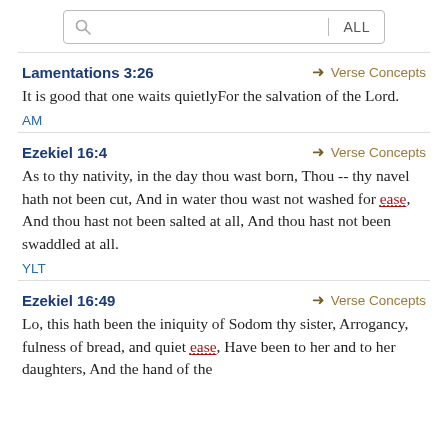Search bar with ALL filter
Lamentations 3:26 → Verse Concepts
It is good that one waits quietlyFor the salvation of the Lord.
AM
Ezekiel 16:4 → Verse Concepts
As to thy nativity, in the day thou wast born, Thou -- thy navel hath not been cut, And in water thou wast not washed for ease, And thou hast not been salted at all, And thou hast not been swaddled at all.
YLT
Ezekiel 16:49 → Verse Concepts
Lo, this hath been the iniquity of Sodom thy sister, Arrogancy, fulness of bread, and quiet ease, Have been to her and to her daughters, And the hand of the